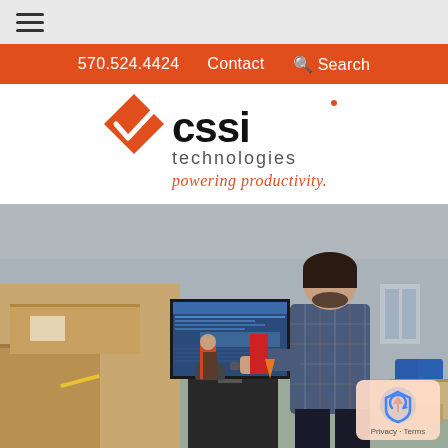≡ (hamburger menu)
570.524.4424  Contact  Search
[Figure (logo): CSSI Technologies logo with orange arrow/checkmark icon, bold 'cssi' text in black, 'technologies' below in gray, and tagline 'powering productivity.' in orange italic]
[Figure (photo): Warehouse scene with a man in a plaid shirt using a computer workstation on wheels surrounded by cardboard boxes, with loading dock doors visible in the background]